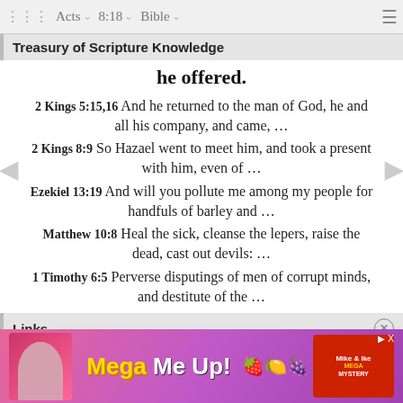Acts  8:18  Bible
Treasury of Scripture Knowledge
he offered.
2 Kings 5:15,16 And he returned to the man of God, he and all his company, and came, …
2 Kings 8:9 So Hazael went to meet him, and took a present with him, even of …
Ezekiel 13:19 And will you pollute me among my people for handfuls of barley and …
Matthew 10:8 Heal the sick, cleanse the lepers, raise the dead, cast out devils: …
1 Timothy 6:5 Perverse disputings of men of corrupt minds, and destitute of the …
Links
Acts 8:18  Acts 8:19
[Figure (screenshot): Colorful advertisement banner for 'Mega Me Up' with candy/fruit imagery and a product box on the right side]